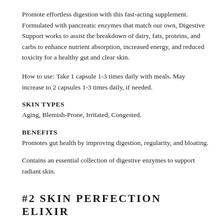Promote effortless digestion with this fast-acting supplement. Formulated with pancreatic enzymes that match our own, Digestive Support works to assist the breakdown of dairy, fats, proteins, and carbs to enhance nutrient absorption, increased energy, and reduced toxicity for a healthy gut and clear skin.
How to use: Take 1 capsule 1-3 times daily with meals. May increase to 2 capsules 1-3 times daily, if needed.
SKIN TYPES
Aging, Blemish-Prone, Irritated, Congested.
BENEFITS
Promotes gut health by improving digestion, regularity, and bloating.
Contains an essential collection of digestive enzymes to support radiant skin.
#2 SKIN PERFECTION ELIXIR